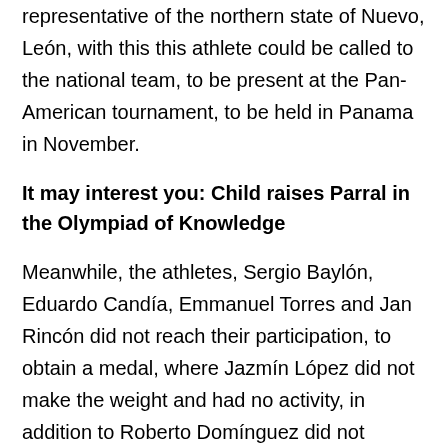representative of the northern state of Nuevo, León, with this this athlete could be called to the national team, to be present at the Pan-American tournament, to be held in Panama in November.
It may interest you: Child raises Parral in the Olympiad of Knowledge
Meanwhile, the athletes, Sergio Baylón, Eduardo Candía, Emmanuel Torres and Jan Rincón did not reach their participation, to obtain a medal, where Jazmín López did not make the weight and had no activity, in addition to Roberto Domínguez did not appear at the fair.
It is noteworthy that the coaches who contributed